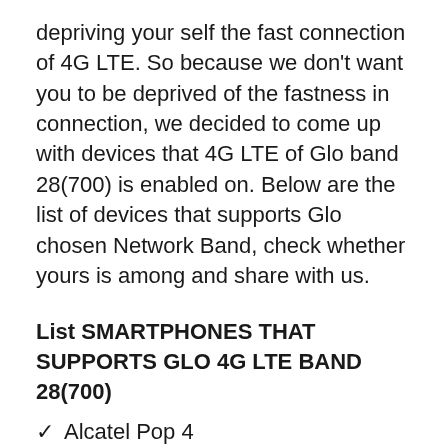depriving your self the fast connection of 4G LTE. So because we don't want you to be deprived of the fastness in connection, we decided to come up with devices that 4G LTE of Glo band 28(700) is enabled on. Below are the list of devices that supports Glo chosen Network Band, check whether yours is among and share with us.
List SMARTPHONES THAT SUPPORTS GLO 4G LTE BAND 28(700)
Alcatel Pop 4
Alcatel Pop 4 Plus
Alcatel Pop 4S
Apple iPhone SE